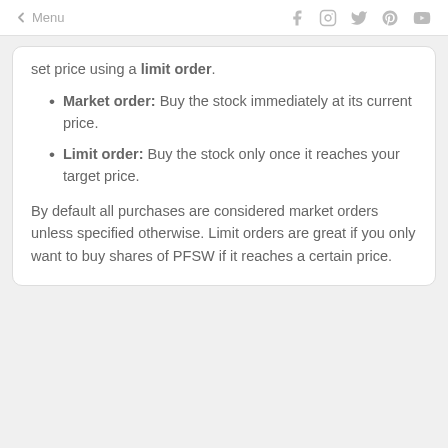← Menu
set price using a limit order.
Market order: Buy the stock immediately at its current price.
Limit order: Buy the stock only once it reaches your target price.
By default all purchases are considered market orders unless specified otherwise. Limit orders are great if you only want to buy shares of PFSW if it reaches a certain price.